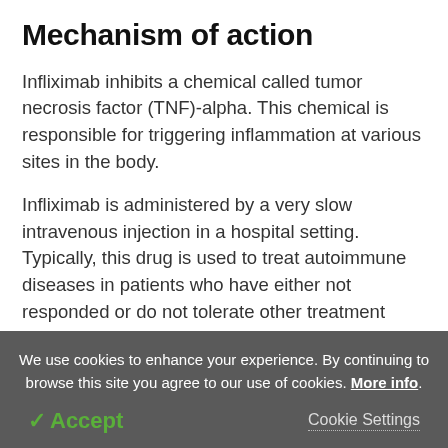Mechanism of action
Infliximab inhibits a chemical called tumor necrosis factor (TNF)-alpha. This chemical is responsible for triggering inflammation at various sites in the body.
Infliximab is administered by a very slow intravenous injection in a hospital setting. Typically, this drug is used to treat autoimmune diseases in patients who have either not responded or do not tolerate other treatment modalities.
We use cookies to enhance your experience. By continuing to browse this site you agree to our use of cookies. More info.
✓ Accept   Cookie Settings